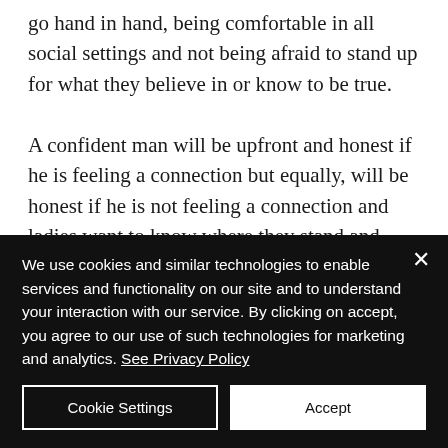go hand in hand, being comfortable in all social settings and not being afraid to stand up for what they believe in or know to be true.
A confident man will be upfront and honest if he is feeling a connection but equally, will be honest if he is not feeling a connection and ladies want to know where they stand and how you feel about them. If you like a lady, ask them out.
We use cookies and similar technologies to enable services and functionality on our site and to understand your interaction with our service. By clicking on accept, you agree to our use of such technologies for marketing and analytics. See Privacy Policy
Cookie Settings
Accept